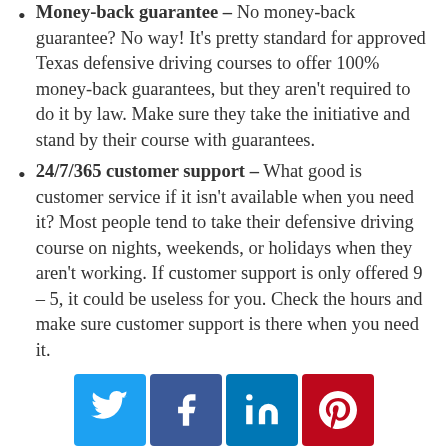Money-back guarantee – No money-back guarantee? No way! It's pretty standard for approved Texas defensive driving courses to offer 100% money-back guarantees, but they aren't required to do it by law. Make sure they take the initiative and stand by their course with guarantees.
24/7/365 customer support – What good is customer service if it isn't available when you need it? Most people tend to take their defensive driving course on nights, weekends, or holidays when they aren't working. If customer support is only offered 9 – 5, it could be useless for you. Check the hours and make sure customer support is there when you need it.
[Figure (infographic): Social sharing buttons: Twitter (blue), Facebook (dark blue), LinkedIn (light blue), Pinterest (red)]